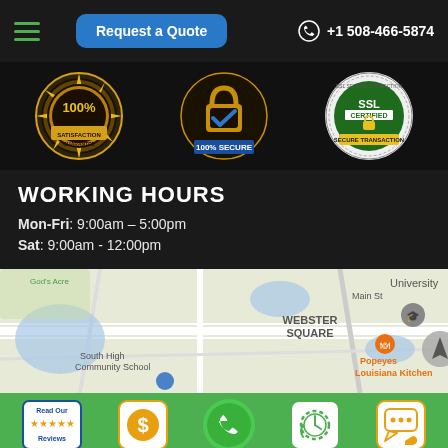Request a Quote | +1 508-466-5874
[Figure (infographic): Three trust badges: 100% Satisfaction Guarantee gold seal, 100% Secure lock badge, SSL Certified Secure Transaction badge]
WORKING HOURS
Mon-Fri: 9:00am – 5:00pm
Sat: 9:00am - 12:00pm
[Figure (map): Google Maps screenshot showing Webster Square area, South High Community School, Popeyes Louisiana Kitchen, University area]
[Figure (infographic): Bottom navigation bar with: Read Our Reviews badge, dollar sign icon, phone icon, clock/schedule icon, chat/text icon]